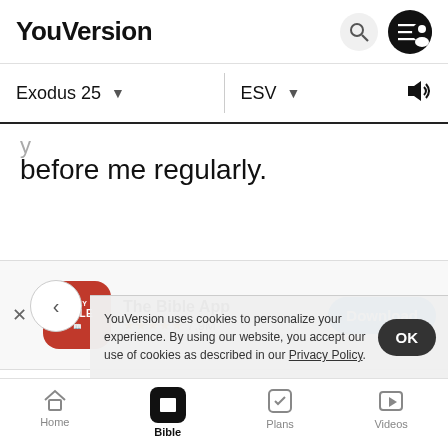YouVersion
Exodus 25 ▾   ESV ▾
y
before me regularly.
[Figure (screenshot): The Bible App download banner with Holy Bible icon, 5 star rating 7.9M reviews, and Download button]
lampstand shall be made of hammered work: its base, its
st— its c
p— with
YouVersion uses cookies to personalize your experience. By using our website, you accept our use of cookies as described in our Privacy Policy.
of its sides, three branches of the lampstand out of one
Home   Bible   Plans   Videos